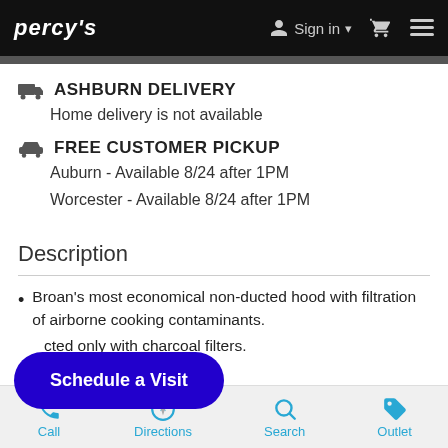PERCY'S   Sign in   [cart]   [menu]
ASHBURN DELIVERY
Home delivery is not available
FREE CUSTOMER PICKUP
Auburn - Available 8/24 after 1PM
Worcester - Available 8/24 after 1PM
Description
Broan's most economical non-ducted hood with filtration of airborne cooking contaminants.
...cted only with charcoal filters.
...watt light.
Internal blower.
Call   Directions   Search   Outlet